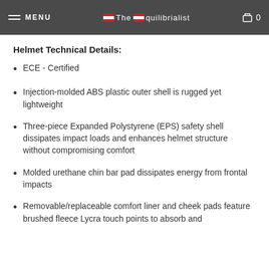MENU | The Equilibrialist | 0
Helmet Technical Details:
ECE - Certified
Injection-molded ABS plastic outer shell is rugged yet lightweight
Three-piece Expanded Polystyrene (EPS) safety shell dissipates impact loads and enhances helmet structure without compromising comfort
Molded urethane chin bar pad dissipates energy from frontal impacts
Removable/replaceable comfort liner and cheek pads feature brushed fleece Lycra touch points to absorb and